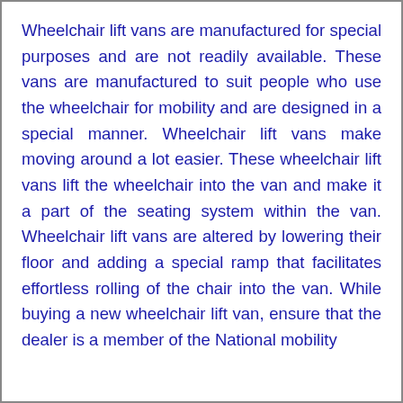Wheelchair lift vans are manufactured for special purposes and are not readily available. These vans are manufactured to suit people who use the wheelchair for mobility and are designed in a special manner. Wheelchair lift vans make moving around a lot easier. These wheelchair lift vans lift the wheelchair into the van and make it a part of the seating system within the van. Wheelchair lift vans are altered by lowering their floor and adding a special ramp that facilitates effortless rolling of the chair into the van. While buying a new wheelchair lift van, ensure that the dealer is a member of the National mobility